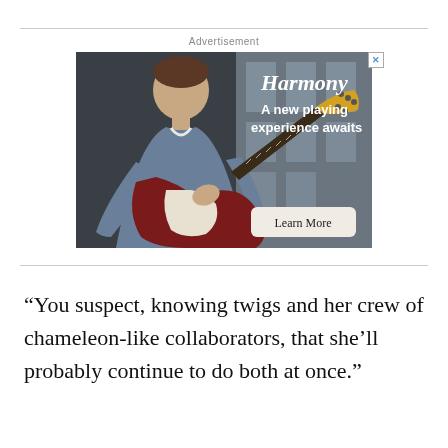Advertisement
[Figure (photo): Advertisement banner for Harmony guitars showing a young man in a denim jacket playing a dark red electric guitar, with the text 'Harmony – A new playing experience awaits' and a 'Learn More' button]
“You suspect, knowing twigs and her crew of chameleon-like collaborators, that she’ll probably continue to do both at once.”